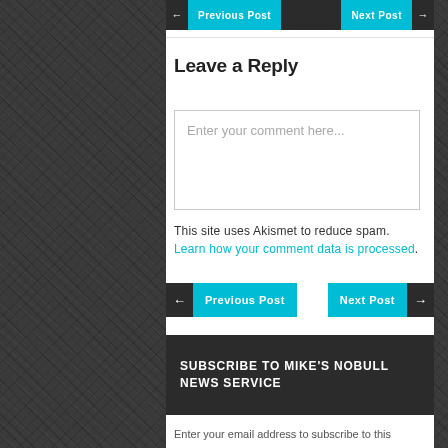[Figure (screenshot): Previous Post and Next Post navigation buttons at top of content area]
Leave a Reply
[Figure (screenshot): Comment text input box with placeholder 'Enter your comment here...']
This site uses Akismet to reduce spam. Learn how your comment data is processed.
[Figure (screenshot): Previous Post and Next Post navigation buttons at bottom of content area]
SUBSCRIBE TO MIKE'S NOBULL NEWS SERVICE
Enter your email address to subscribe to this